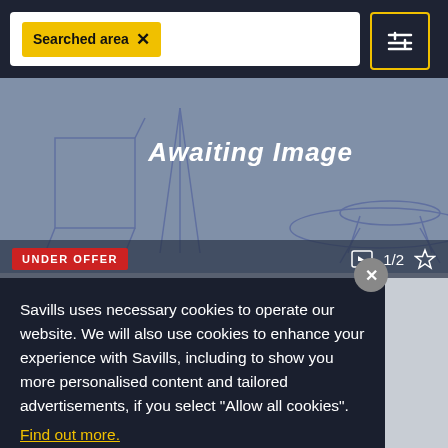[Figure (screenshot): Savills property website screenshot showing search bar with 'Searched area' tag, filter button, awaiting image placeholder, under offer badge, and cookie consent overlay]
Searched area
Awaiting Image
UNDER OFFER
1/2
Savills uses necessary cookies to operate our website. We will also use cookies to enhance your experience with Savills, including to show you more personalised content and tailored advertisements, if you select “Allow all cookies”. Find out more.
Allow all cookies